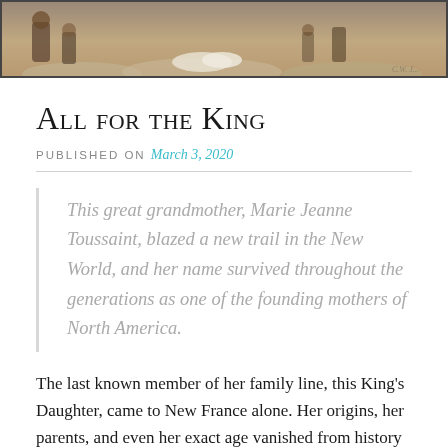[Figure (photo): A historical painting or illustration showing figures near the ground, muted earth tones, partially visible at top of page]
All for the King
PUBLISHED ON March 3, 2020
This great grandmother, Marie Jeanne Toussaint, blazed a new trail in the New World, and her name survived throughout the generations as one of the founding mothers of North America.
The last known member of her family line, this King's Daughter, came to New France alone. Her origins, her parents, and even her exact age vanished from history